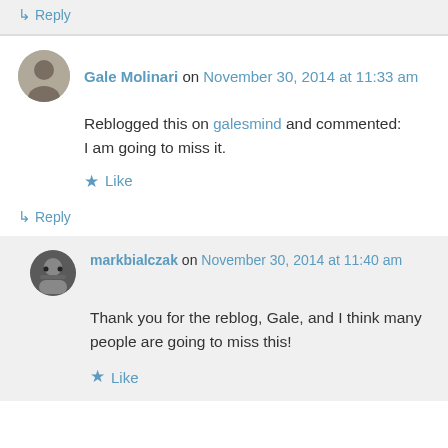↳ Reply
Gale Molinari on November 30, 2014 at 11:33 am
Reblogged this on galesmind and commented: I am going to miss it.
★ Like
↳ Reply
markbialczak on November 30, 2014 at 11:40 am
Thank you for the reblog, Gale, and I think many people are going to miss this!
★ Like